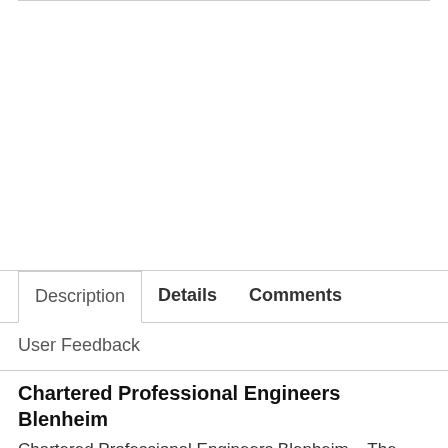Description
Details
Comments
User Feedback
Chartered Professional Engineers Blenheim
Chartered Professional Engineers Blenheim – The